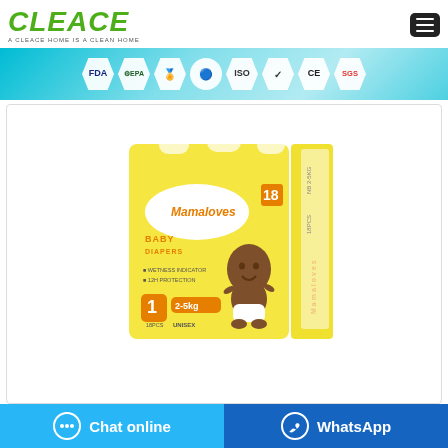CLEACE — A CLEACE HOME IS A CLEAN HOME
[Figure (infographic): Certification badges banner: FDA, EPA, and various quality/standard certification hexagonal and circular badges on a teal/cyan gradient background]
[Figure (photo): Mamaloves Baby Diapers product packaging — yellow box with a baby on it, Size 1, 2-5kg, 18pcs, Unisex]
Chat online
WhatsApp